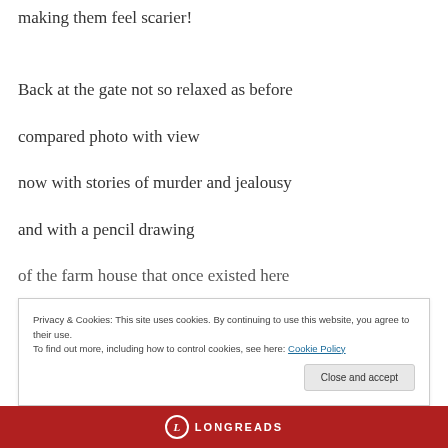making them feel scarier!
Back at the gate not so relaxed as before
compared photo with view
now with stories of murder and jealousy
and with a pencil drawing
of the farm house that once existed here
Privacy & Cookies: This site uses cookies. By continuing to use this website, you agree to their use.
To find out more, including how to control cookies, see here: Cookie Policy
LONGREADS